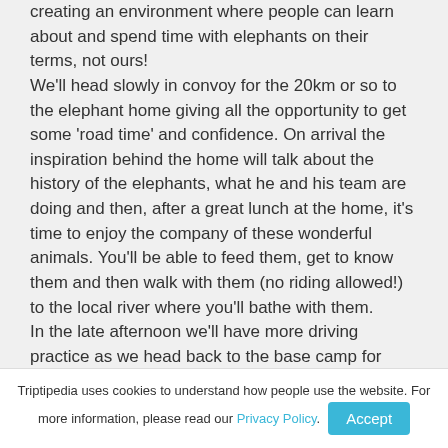creating an environment where people can learn about and spend time with elephants on their terms, not ours! We'll head slowly in convoy for the 20km or so to the elephant home giving all the opportunity to get some 'road time' and confidence. On arrival the inspiration behind the home will talk about the history of the elephants, what he and his team are doing and then, after a great lunch at the home, it's time to enjoy the company of these wonderful animals. You'll be able to feed them, get to know them and then walk with them (no riding allowed!) to the local river where you'll bathe with them. In the late afternoon we'll have more driving practice as we head back to the base camp for dinner and getting ready for an adventurous day
Triptipedia uses cookies to understand how people use the website. For more information, please read our Privacy Policy. Accept